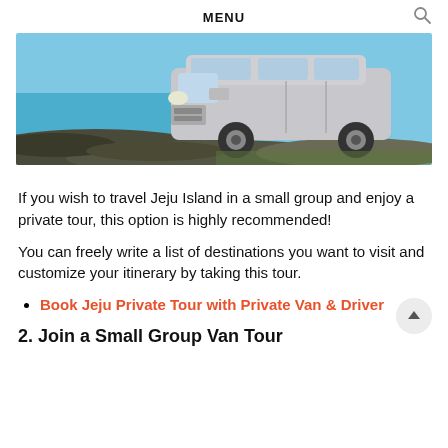MENU
[Figure (photo): A silver Hyundai minivan/van parked on rocky coastal terrain with blue ocean water visible in the background.]
If you wish to travel Jeju Island in a small group and enjoy a private tour, this option is highly recommended!
You can freely write a list of destinations you want to visit and customize your itinerary by taking this tour.
Book Jeju Private Tour with Private Van & Driver
2. Join a Small Group Van Tour